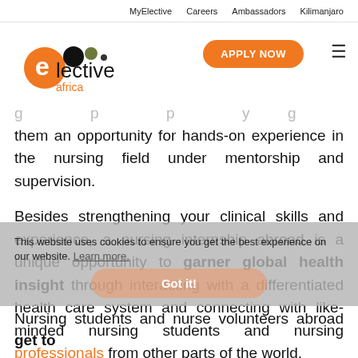MyElective   Careers   Ambassadors   Kilimanjaro
[Figure (logo): Elective Africa logo — orange circle with 'e', black and olive dots, text 'elective africa']
APPLY NOW
them an opportunity for hands-on experience in the nursing field under mentorship and supervision.
Besides strengthening your clinical skills and experience, a nursing internship abroad is a unique opportunity to garner global health insight through interacting with a differentiated health care system and connecting with like-minded nursing students and nursing professionals from other parts of the world.
This website uses cookies to ensure you get the best experience on our website. Learn more.
Got it!
Nursing students and nurse volunteers abroad get to